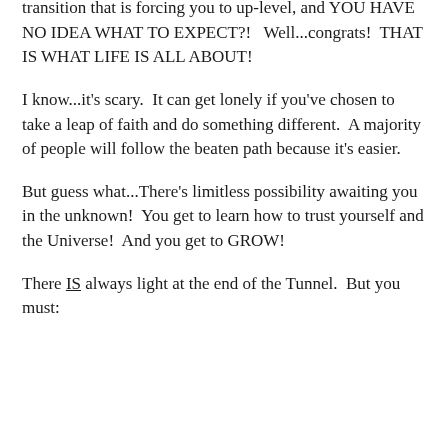transition that is forcing you to up-level, and YOU HAVE NO IDEA WHAT TO EXPECT?!   Well...congrats!  THAT IS WHAT LIFE IS ALL ABOUT!
I know...it's scary.  It can get lonely if you've chosen to take a leap of faith and do something different.  A majority of people will follow the beaten path because it's easier.
But guess what...There's limitless possibility awaiting you in the unknown!  You get to learn how to trust yourself and the Universe!  And you get to GROW!
There IS always light at the end of the Tunnel.  But you must: